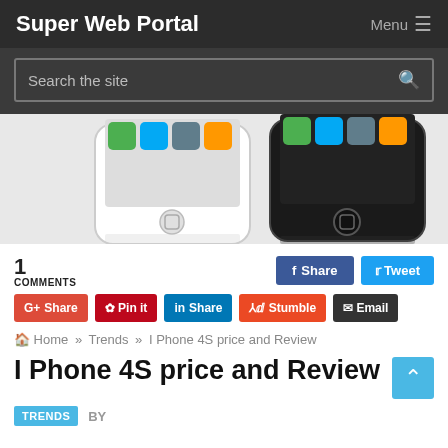Super Web Portal   Menu
Search the site
[Figure (photo): Two iPhones — one white and one black — showing the home screen with app icons, viewed from the front bottom portion.]
1 COMMENTS
f Share   Tweet (Twitter)   G+ Share   Pin it   in Share   Stumble   Email
Home » Trends » I Phone 4S price and Review
I Phone 4S price and Review
TRENDS  BY